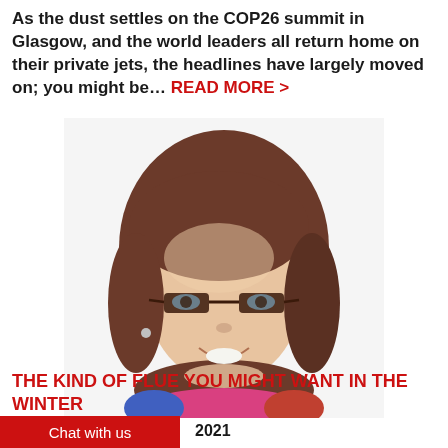As the dust settles on the COP26 summit in Glasgow, and the world leaders all return home on their private jets, the headlines have largely moved on; you might be… READ MORE >
[Figure (photo): Headshot photo of a smiling woman with brown bob-cut hair and dark-framed glasses, wearing a colorful scarf, against a white background.]
THE KIND OF FLUE YOU MIGHT WANT IN THE WINTER
2021